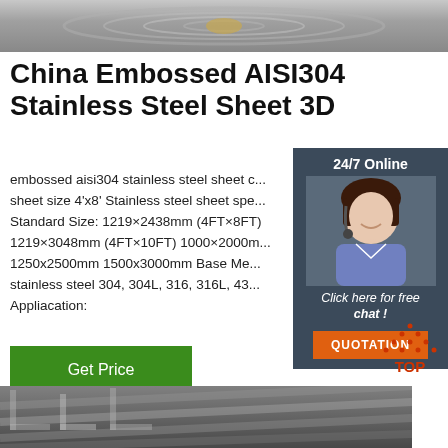[Figure (photo): Top partial image of stainless steel coil/roll material, grayish metallic texture]
China Embossed AISI304 Stainless Steel Sheet 3D
embossed aisi304 stainless steel sheet c... sheet size 4'x8' Stainless steel sheet spe... Standard Size: 1219×2438mm (4FT×8FT) 1219×3048mm (4FT×10FT) 1000×2000mm 1250x2500mm 1500x3000mm Base Me... stainless steel 304, 304L, 316, 316L, 43... Appliacation:
[Figure (photo): Chat widget with 24/7 Online label, photo of woman with headset smiling, Click here for free chat, QUOTATION button]
[Figure (illustration): TOP back-to-top icon with orange dotted triangle above red text TOP]
[Figure (photo): Bottom partial image showing stainless steel angle/channel bars stacked, grey metallic industrial material]